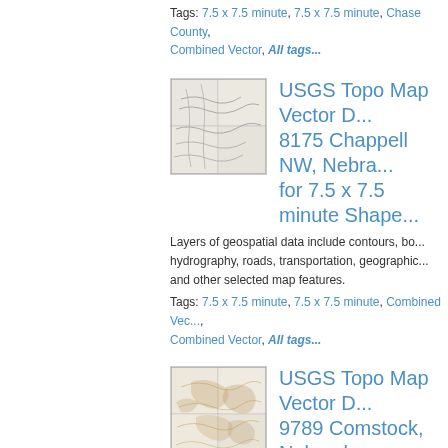Tags: 7.5 x 7.5 minute, 7.5 x 7.5 minute, Chase County, Combined Vector, All tags...
[Figure (map): Thumbnail of USGS topo map for Chappell NW, Nebraska - grayscale topographic map thumbnail]
USGS Topo Map Vector D... 8175 Chappell NW, Nebra... for 7.5 x 7.5 minute Shape...
Layers of geospatial data include contours, bo... hydrography, roads, transportation, geographic... and other selected map features.
Tags: 7.5 x 7.5 minute, 7.5 x 7.5 minute, Combined Vec... Combined Vector, All tags...
[Figure (map): Thumbnail of USGS topo map for Comstock, Nebraska - tan/brown topographic map thumbnail]
USGS Topo Map Vector D... 9789 Comstock, Nebraska... 7.5 x 7.5 minute Shapefile...
Layers of geospatial data include contours, bo... hydrography, roads, transportation, geographic... and other selected map features.
Tags: 7.5 x 7.5 minute, 7.5 x 7.5 minute, Combined Vec... Combined Vector, All tags...